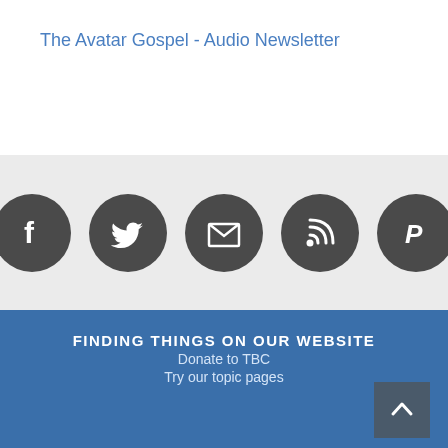The Avatar Gospel - Audio Newsletter
[Figure (infographic): Row of five dark circular social media icons: Facebook (f), Twitter (bird), Email (envelope), RSS (wifi/signal), PayPal (P)]
FINDING THINGS ON OUR WEBSITE
Donate to TBC
Try our topic pages